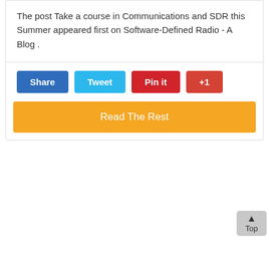The post Take a course in Communications and SDR this Summer appeared first on Software-Defined Radio - A Blog .
[Figure (other): Social sharing buttons row: Share (blue), Tweet (light blue), Pin it (red), +1 (red-orange)]
[Figure (other): Orange 'Read The Rest' button]
[Figure (other): Gray 'Top' back-to-top button with upward arrow, bottom right corner]